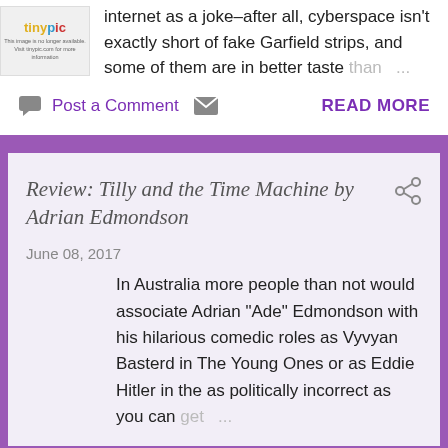[Figure (logo): Tinypic logo with 'This image is no longer available. Visit tinypic.com for more information' notice]
internet as a joke–after all, cyberspace isn't exactly short of fake Garfield strips, and some of them are in better taste than …
Post a Comment  READ MORE
Review: Tilly and the Time Machine by Adrian Edmondson
June 08, 2017
In Australia more people than not would associate Adrian "Ade" Edmondson with his hilarious comedic roles as Vyvyan Basterd in The Young Ones or as Eddie Hitler in the as politically incorrect as you can get …